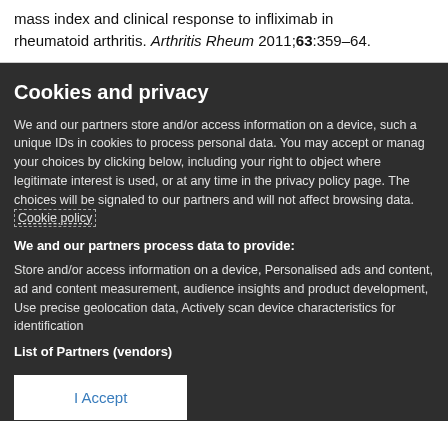mass index and clinical response to infliximab in rheumatoid arthritis. Arthritis Rheum 2011;63:359–64.
Cookies and privacy
We and our partners store and/or access information on a device, such as unique IDs in cookies to process personal data. You may accept or manage your choices by clicking below, including your right to object where legitimate interest is used, or at any time in the privacy policy page. These choices will be signaled to our partners and will not affect browsing data. Cookie policy
We and our partners process data to provide:
Store and/or access information on a device, Personalised ads and content, ad and content measurement, audience insights and product development, Use precise geolocation data, Actively scan device characteristics for identification
List of Partners (vendors)
I Accept